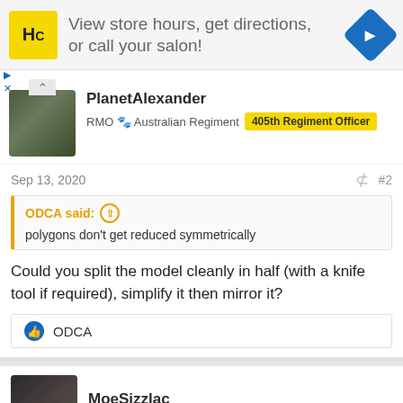[Figure (other): Advertisement banner for a salon service: HC logo, text 'View store hours, get directions, or call your salon!', blue navigation arrow icon]
PlanetAlexander
RMO 🐾 Australian Regiment | 405th Regiment Officer
Sep 13, 2020  #2
ODCA said: ↑
polygons don't get reduced symmetrically
Could you split the model cleanly in half (with a knife tool if required), simplify it then mirror it?
👍 ODCA
MoeSizzlac
Well-Known Member 🐾 Colonial Regiment